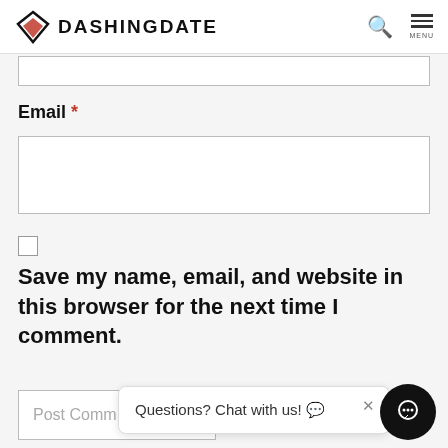DASHING DATE
Email *
Save my name, email, and website in this browser for the next time I comment.
Post Comm...
Questions? Chat with us! 💬